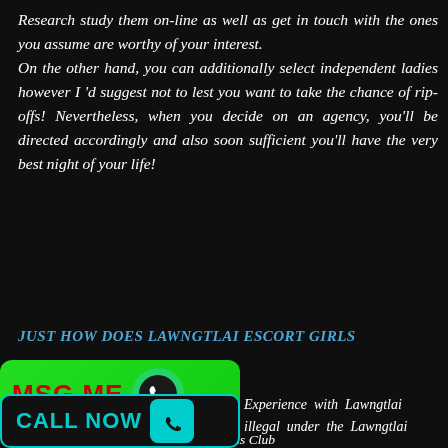Research study them on-line as well as get in touch with the ones you assume are worthy of your interest. On the other hand, you can additionally select independent ladies however I 'd suggest not to lest you want to take the chance of rip-offs! Nevertheless, when you decide on an agency, you'll be directed accordingly and also soon sufficient you'll have the very best night of your life!
JUST HOW DOES LAWNGTLAI ESCORT GIRLS
[Figure (other): Green WhatsApp MSG ME button with phone icon]
[Figure (other): Dark CALL NOW button with cyan phone icon]
Experience with Lawngtlai illegal under the Lawngtlai regulation as well as Lawngtlai escorts Girls Club